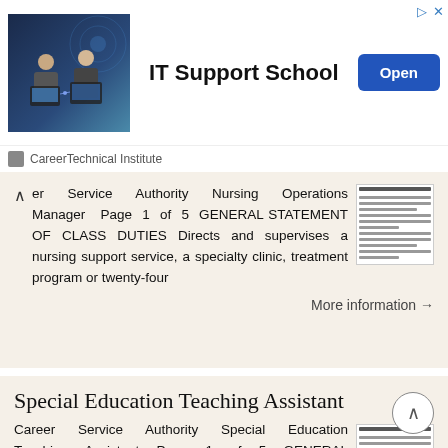[Figure (screenshot): Advertisement banner for IT Support School by CareerTechnical Institute, with an Open button]
er Service Authority Nursing Operations Manager Page 1 of 5 GENERAL STATEMENT OF CLASS DUTIES Directs and supervises a nursing support service, a specialty clinic, treatment program or twenty-four
More information →
Special Education Teaching Assistant
Career Service Authority Special Education Teaching Assistant Page 1 of 5 GENERAL STATEMENT OF CLASS DUTIES Performs paraprofessional performance work providing instruction and support for classroom teachers